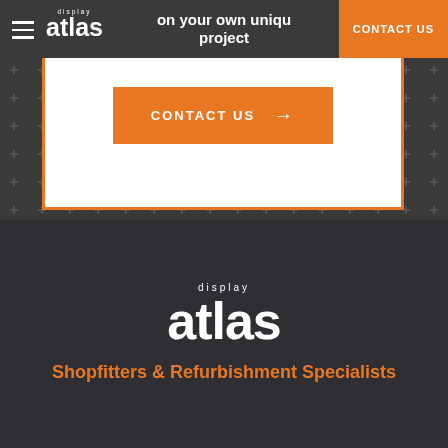atlas display — CONTACT US
on your own unique project
[Figure (logo): Atlas Display logo with 'display' text above 'atlas' in bold white on dark background, with orange CONTACT US button in nav bar]
[Figure (infographic): White box with orange border containing orange CONTACT US button with arrow on a dark grid-patterned background]
[Figure (logo): Atlas Display large white logo on dark background]
Shopfitters & Refurbishment Specialists